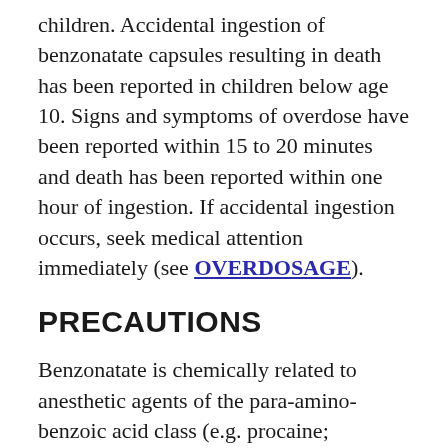children. Accidental ingestion of benzonatate capsules resulting in death has been reported in children below age 10. Signs and symptoms of overdose have been reported within 15 to 20 minutes and death has been reported within one hour of ingestion. If accidental ingestion occurs, seek medical attention immediately (see OVERDOSAGE).
PRECAUTIONS
Benzonatate is chemically related to anesthetic agents of the para-amino-benzoic acid class (e.g. procaine; tetracaine) and has been associated with adverse CNS effects possibly related to a simultaneous ingestion of benzonatate